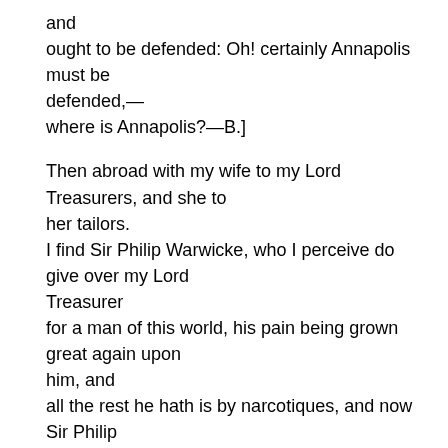and ought to be defended: Oh! certainly Annapolis must be defended,— where is Annapolis?—B.]
Then abroad with my wife to my Lord Treasurers, and she to her tailors. I find Sir Philip Warwicke, who I perceive do give over my Lord Treasurer for a man of this world, his pain being grown great again upon him, and all the rest he hath is by narcotiques, and now Sir Philip Warwicke do please himself, like a good man, to tell some of the good ejaculations of my Lord Treasurer concerning the little worth of this world, to buy it with so much pain, and other things fit for a dying man. So finding no business likely to be done here for Tangier, I having a warrant